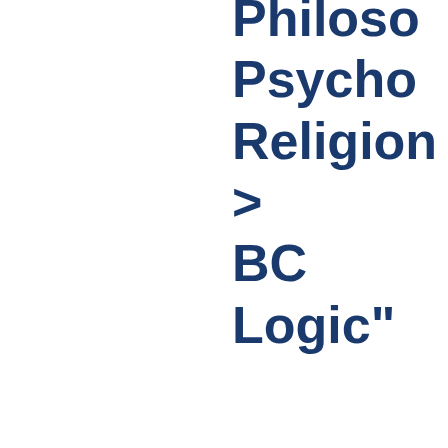Philoso
Psycho
Religion
>
BC
Logic"
Up a level
Export as
EndNote
Export
Library of Congress Subject Areas (7)